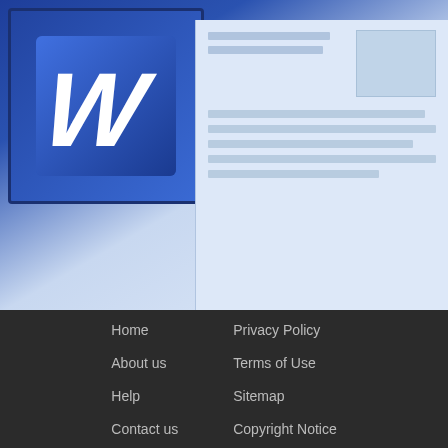[Figure (illustration): Microsoft Word document icon (blue W logo) with a document preview showing lines of text and an image placeholder, on a blue gradient background]
$15.00USD
BUS-485 Topic 5 CLC...
a+ tutorials
Home
About us
Help
Contact us
Privacy Policy
Terms of Use
Sitemap
Copyright Notice